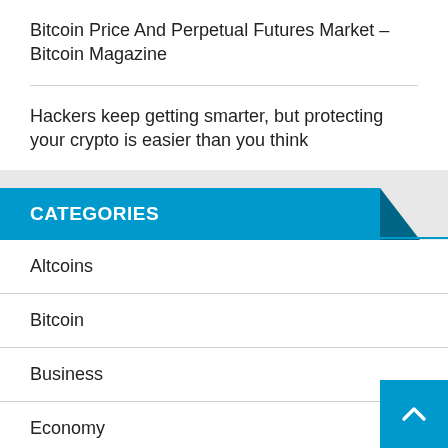Bitcoin Price And Perpetual Futures Market – Bitcoin Magazine
Hackers keep getting smarter, but protecting your crypto is easier than you think
CATEGORIES
Altcoins
Bitcoin
Business
Economy